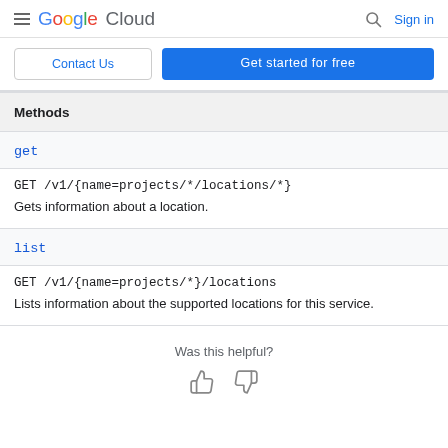Google Cloud — Sign in
Contact Us | Get started for free
| Methods |  |
| --- | --- |
| get | GET /v1/{name=projects/*/locations/*}
Gets information about a location. |
| list | GET /v1/{name=projects/*}/locations
Lists information about the supported locations for this service. |
Was this helpful?